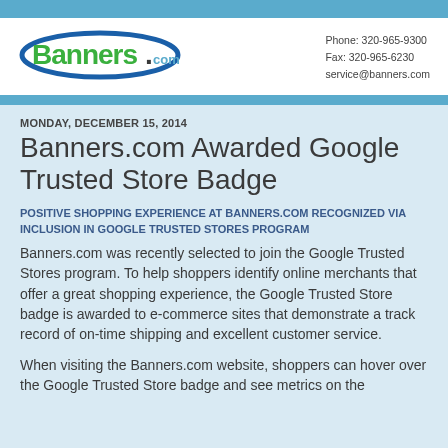[Figure (logo): Banners.com logo with green text and blue oval swoosh]
Phone: 320-965-9300
Fax: 320-965-6230
service@banners.com
MONDAY, DECEMBER 15, 2014
Banners.com Awarded Google Trusted Store Badge
POSITIVE SHOPPING EXPERIENCE AT BANNERS.COM RECOGNIZED VIA INCLUSION IN GOOGLE TRUSTED STORES PROGRAM
Banners.com was recently selected to join the Google Trusted Stores program. To help shoppers identify online merchants that offer a great shopping experience, the Google Trusted Store badge is awarded to e-commerce sites that demonstrate a track record of on-time shipping and excellent customer service.
When visiting the Banners.com website, shoppers can hover over the Google Trusted Store badge and see metrics on the...